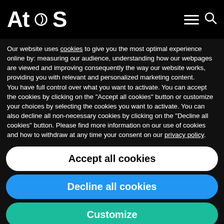Atos
Our website uses cookies to give you the most optimal experience online by: measuring our audience, understanding how our webpages are viewed and improving consequently the way our website works, providing you with relevant and personalized marketing content.
You have full control over what you want to activate. You can accept the cookies by clicking on the "Accept all cookies" button or customize your choices by selecting the cookies you want to activate. You can also decline all non-necessary cookies by clicking on the "Decline all cookies" button. Please find more information on our use of cookies and how to withdraw at any time your consent on our privacy policy.
Accept all cookies
Decline all cookies
Customize
Privacy policy
processing contract that was re-insourced in Germany